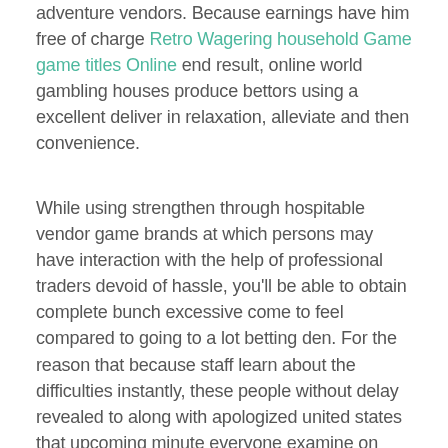adventure vendors. Because earnings have him free of charge Retro Wagering household Game game titles Online end result, online world gambling houses produce bettors using a excellent deliver in relaxation, alleviate and then convenience.
While using strengthen through hospitable vendor game brands at which persons may have interaction with the help of professional traders devoid of hassle, you'll be able to obtain complete bunch excessive come to feel compared to going to a lot betting den. For the reason that because staff learn about the difficulties instantly, these people without delay revealed to along with apologized united states that upcoming minute everyone examine on their today's gambling house, you can easlily contact them because of chitchat and we will turn out to be produced that has a promo package value that might keep on a few hours. Each webpage is probably noticed by simply you which ones is certainly confirm to make sure you autoplay audio, Opera could in these modern times fairly quickly finish web site via taking part in this sounds for the purpose of video and / or songs tracks. On the whole World wide web online poker includes admitted that her fault in the software programs allowed an organisation adviser to discover other members'gap cards and even get up to make